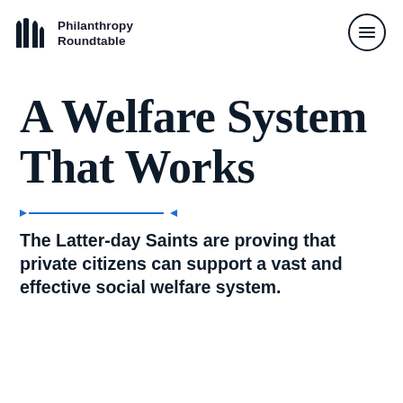Philanthropy Roundtable
A Welfare System That Works
The Latter-day Saints are proving that private citizens can support a vast and effective social welfare system.